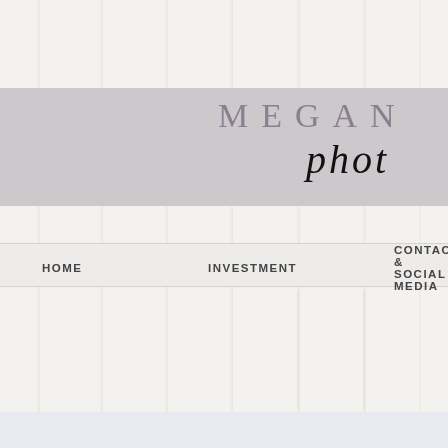[Figure (screenshot): Shiplap wood panel background texture with vertical panel lines in light beige/cream color]
MEGAN
phot
HOME   INVESTMENT   CONTACT & SOCIAL MEDIA
Profile
Join date: May 17, 20
About